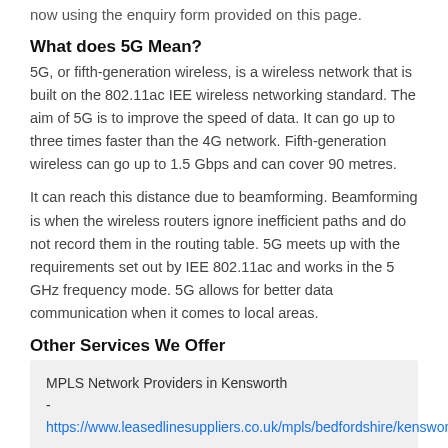now using the enquiry form provided on this page.
What does 5G Mean?
5G, or fifth-generation wireless, is a wireless network that is built on the 802.11ac IEE wireless networking standard. The aim of 5G is to improve the speed of data. It can go up to three times faster than the 4G network. Fifth-generation wireless can go up to 1.5 Gbps and can cover 90 metres.
It can reach this distance due to beamforming. Beamforming is when the wireless routers ignore inefficient paths and do not record them in the routing table. 5G meets up with the requirements set out by IEE 802.11ac and works in the 5 GHz frequency mode. 5G allows for better data communication when it comes to local areas.
Other Services We Offer
MPLS Network Providers in Kensworth - https://www.leasedlinesuppliers.co.uk/mpls/bedfordshire/kensworth
Online Backup Solutions in Kensworth